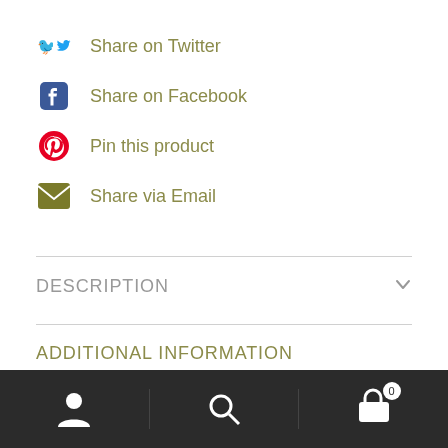Share on Twitter
Share on Facebook
Pin this product
Share via Email
DESCRIPTION
ADDITIONAL INFORMATION
REVIEWS (0)
Bottom navigation bar with user, search, and cart icons